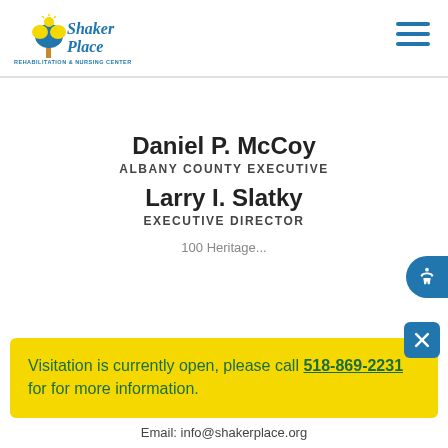[Figure (logo): Shaker Place Rehabilitation & Nursing Center logo with tree and leaves graphic in blue and yellow]
Daniel P. McCoy
ALBANY COUNTY EXECUTIVE
Larry I. Slatky
EXECUTIVE DIRECTOR
Visitation is currently open, please call 518-869-2231 for for more information.
Email: info@shakerplace.org